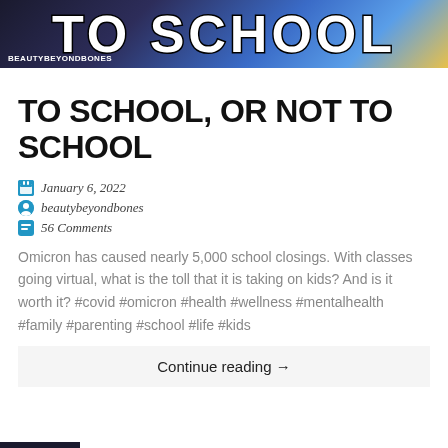[Figure (photo): Blog banner image with large bold text 'TO SCHOOL' over a colorful background with school supplies, watermark 'BeautyBeyondBones' at bottom left]
TO SCHOOL, OR NOT TO SCHOOL
January 6, 2022
beautybeyondbones
56 Comments
Omicron has caused nearly 5,000 school closings. With classes going virtual, what is the toll that it is taking on kids? And is it worth it? #covid #omicron #health #wellness #mentalhealth #family #parenting #school #life #kids
Continue reading →